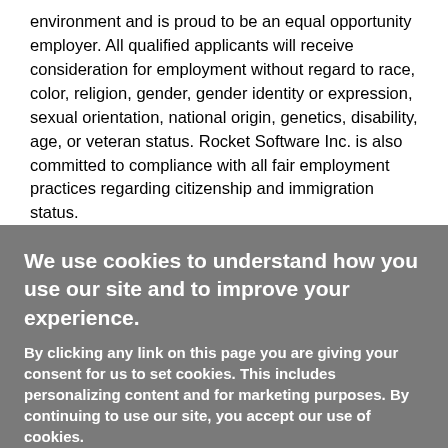environment and is proud to be an equal opportunity employer. All qualified applicants will receive consideration for employment without regard to race, color, religion, gender, gender identity or expression, sexual orientation, national origin, genetics, disability, age, or veteran status. Rocket Software Inc. is also committed to compliance with all fair employment practices regarding citizenship and immigration status.

Rocket is committed to working with and providing reasonable accommodations to individuals with physical and mental
We use cookies to understand how you use our site and to improve your experience.
By clicking any link on this page you are giving your consent for us to set cookies. This includes personalizing content and for marketing purposes. By continuing to use our site, you accept our use of cookies.
OK